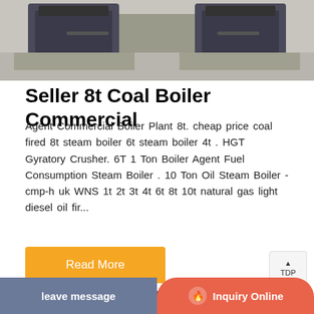[Figure (photo): Industrial coal boilers on concrete base in a facility]
Seller 8t Coal Boiler Commercial
Agent Commercial Boiler Plant 8t. cheap price coal fired 8t steam boiler 6t steam boiler 4t . HGT Gyratory Crusher. 6T 1 Ton Boiler Agent Fuel Consumption Steam Boiler . 10 Ton Oil Steam Boiler - cmp-h uk WNS 1t 2t 3t 4t 6t 8t 10t natural gas light diesel oil fir...
[Figure (photo): Industrial boilers in a warehouse/factory setting]
leave message
Inquiry Online